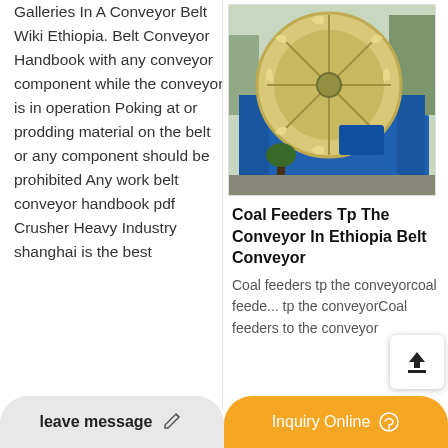Galleries In A Conveyor Belt Wiki Ethiopia. Belt Conveyor Handbook with any conveyor component while the conveyor is in operation Poking at or prodding material on the belt or any component should be prohibited Any work belt conveyor handbook pdf Crusher Heavy Industry shanghai is the best handbook pdf
[Figure (photo): Industrial conveyor or sand washing machine with large yellow wheel/drum structure and blue base, parked outdoors]
Coal Feeders Tp The Conveyor In Ethiopia Belt Conveyor
Coal feeders tp the conveyorcoal feeders tp the conveyorCoal feeders tp the conveyor
leave message   Inquiry Online